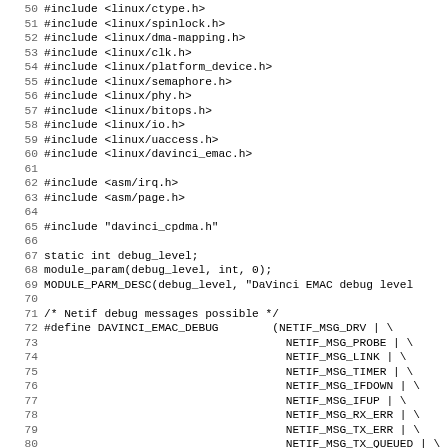Source code listing lines 50-82, C source file with #include directives and macro definitions for DaVinci EMAC driver
51 #include <linux/spinlock.h>
52 #include <linux/dma-mapping.h>
53 #include <linux/clk.h>
54 #include <linux/platform_device.h>
55 #include <linux/semaphore.h>
56 #include <linux/phy.h>
57 #include <linux/bitops.h>
58 #include <linux/io.h>
59 #include <linux/uaccess.h>
60 #include <linux/davinci_emac.h>
61
62 #include <asm/irq.h>
63 #include <asm/page.h>
64
65 #include "davinci_cpdma.h"
66
67 static int debug_level;
68 module_param(debug_level, int, 0);
69 MODULE_PARM_DESC(debug_level, "DaVinci EMAC debug level
70
71 /* Netif debug messages possible */
72 #define DAVINCI_EMAC_DEBUG         (NETIF_MSG_DRV | \
73                                     NETIF_MSG_PROBE | \
74                                     NETIF_MSG_LINK | \
75                                     NETIF_MSG_TIMER | \
76                                     NETIF_MSG_IFDOWN | \
77                                     NETIF_MSG_IFUP | \
78                                     NETIF_MSG_RX_ERR | \
79                                     NETIF_MSG_TX_ERR | \
80                                     NETIF_MSG_TX_QUEUED | \
81                                     NETIF_MSG_INTR | \
82                                     NETIF_MSG_TX_DONE | \